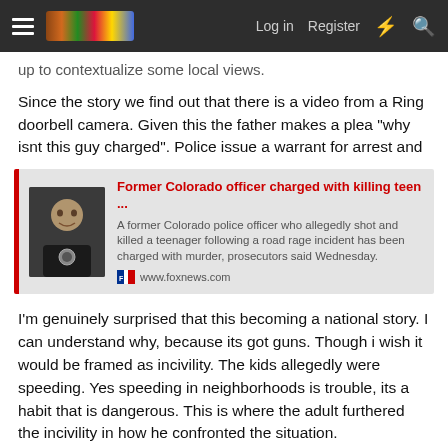Log in  Register
up to contextualize some local views.
Since the story we find out that there is a video from a Ring doorbell camera. Given this the father makes a plea "why isnt this guy charged". Police issue a warrant for arrest and
[Figure (screenshot): Embedded news article card with photo of a man and headline: Former Colorado officer charged with killing teen ... A former Colorado police officer who allegedly shot and killed a teenager following a road rage incident has been charged with murder, prosecutors said Wednesday. www.foxnews.com]
I'm genuinely surprised that this becoming a national story. I can understand why, because its got guns. Though i wish it would be framed as incivility. The kids allegedly were speeding. Yes speeding in neighborhoods is trouble, its a habit that is dangerous. This is where the adult furthered the incivility in how he confronted the situation.